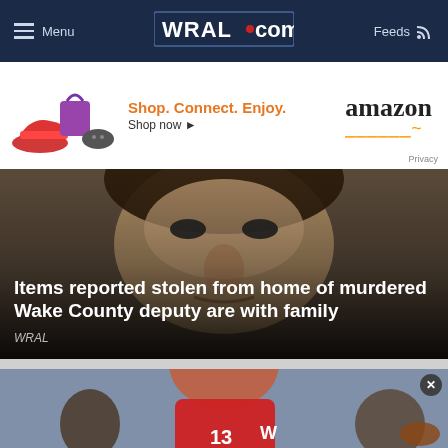Menu | WRAL.com | Feeds
[Figure (screenshot): Amazon advertisement banner: Shop. Connect. Enjoy. amazon Shop now ▸ Privacy]
[Figure (photo): Close-up photo of a man's face with dark hair, news article overlay at bottom]
Items reported stolen from home of murdered Wake County deputy are with family
WRAL
[Figure (photo): Football player in red Wisconsin Badgers jersey #13 posing with trophy statuettes on gray background]